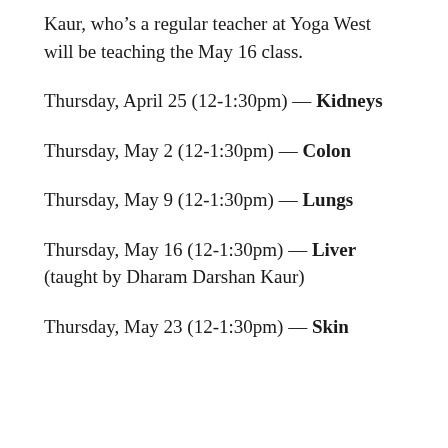Kaur, who’s a regular teacher at Yoga West will be teaching the May 16 class.
Thursday, April 25 (12-1:30pm) — Kidneys
Thursday, May 2 (12-1:30pm) — Colon
Thursday, May 9 (12-1:30pm) — Lungs
Thursday, May 16 (12-1:30pm) — Liver (taught by Dharam Darshan Kaur)
Thursday, May 23 (12-1:30pm) — Skin